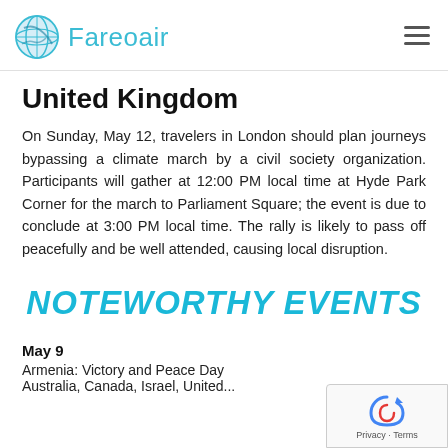Fareoair
United Kingdom
On Sunday, May 12, travelers in London should plan journeys bypassing a climate march by a civil society organization. Participants will gather at 12:00 PM local time at Hyde Park Corner for the march to Parliament Square; the event is due to conclude at 3:00 PM local time. The rally is likely to pass off peacefully and be well attended, causing local disruption.
NOTEWORTHY EVENTS
May 9
Armenia: Victory and Peace Day
Australia, Canada, Israel, United...